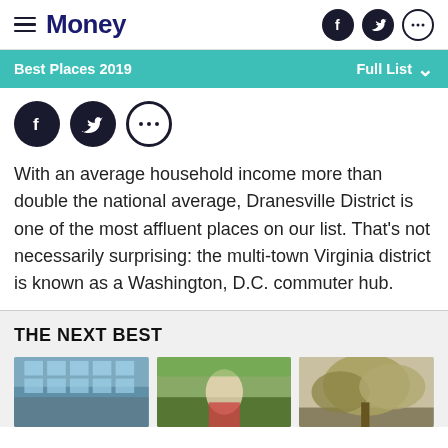Money | Best Places 2019 | Full List
[Figure (screenshot): Social media share icons row: Facebook, Twitter, More (ellipsis)]
With an average household income more than double the national average, Dranesville District is one of the most affluent places on our list. That’s not necessarily surprising: the multi-town Virginia district is known as a Washington, D.C. commuter hub.
THE NEXT BEST
[Figure (photo): Three thumbnail photos for 'The Next Best' section: a building with blue windows, a person at an outdoor event, and a tree with foliage]